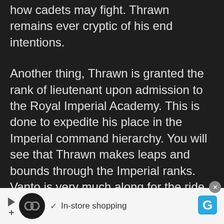how cadets may fight. Thrawn remains ever cryptic of his end intentions.
Another thing, Thrawn is granted the rank of lieutenant upon admission to the Royal Imperial Academy. This is done to expedite his place in the Imperial command hierarchy. You will see that Thrawn makes leaps and bounds through the Imperial ranks. Vanto is very much along for the ride, but after their graduation he stagnates at the rank of ensign. This is something Vanto
In-store shopping